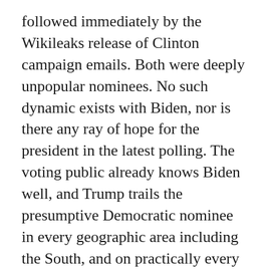followed immediately by the Wikileaks release of Clinton campaign emails. Both were deeply unpopular nominees. No such dynamic exists with Biden, nor is there any ray of hope for the president in the latest polling. The voting public already knows Biden well, and Trump trails the presumptive Democratic nominee in every geographic area including the South, and on practically every measure of public policy.
Trump's unpopularity has many obvious causes, but the one singular metric that has damaged Trump the most has been his response to the COVID pandemic crisis. Per the WaPo–ABC poll, Trump has moved from 2 points ahead of Biden and declining with the numbers into Biden leading